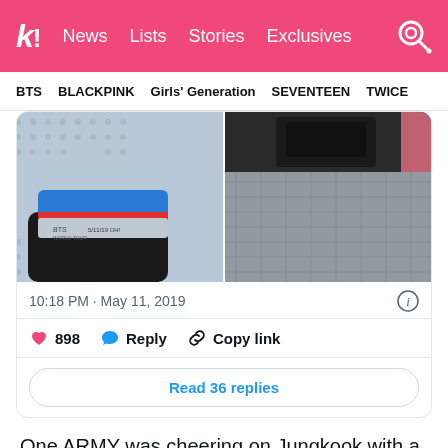k! News Lists Stories Exclusives
BTS BLACKPINK Girls' Generation SEVENTEEN TWICE
[Figure (photo): Tweet card showing two photos: left photo shows a wristband/bracelet on a person's wrist in front of a dotted background; right photo shows a metal grate or barrier. Below the images: timestamp 10:18 PM · May 11, 2019 with an info icon. Action row with heart/898, Reply, Copy link. Read 36 replies button.]
One ARMY was cheering on Jungkook with a self-made poster of his face and a sign that read his name in Hangul